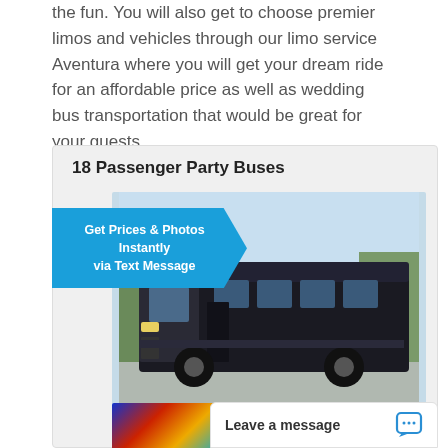the fun. You will also get to choose premier limos and vehicles through our limo service Aventura where you will get your dream ride for an affordable price as well as wedding bus transportation that would be great for your guests.
18 Passenger Party Buses
[Figure (photo): Black party bus / passenger van photographed outdoors in a parking lot]
Get Prices & Photos Instantly via Text Message
Leave a message